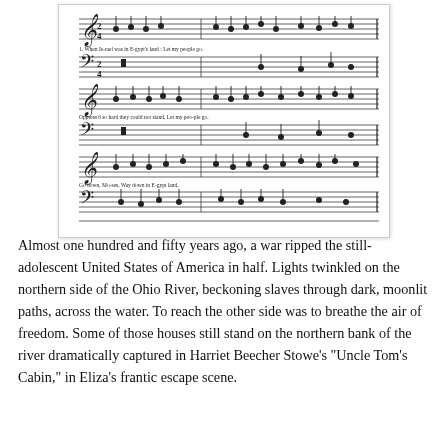[Figure (illustration): Sheet music for a spiritual song, showing four staves of musical notation with lyrics. Lyrics visible include: '1. When Is-rael was in E-gypt's land: Let my people go.', 'Oppress'd so hard they could not stand, Let my people go.', 'Go down, Mo-ses, Way down in E-gypt land,', 'Tell ole Pha-roh, Let my peo-ple go.']
Almost one hundred and fifty years ago, a war ripped the still-adolescent United States of America in half. Lights twinkled on the northern side of the Ohio River, beckoning slaves through dark, moonlit paths, across the water. To reach the other side was to breathe the air of freedom. Some of those houses still stand on the northern bank of the river dramatically captured in Harriet Beecher Stowe's "Uncle Tom's Cabin," in Eliza's frantic escape scene.